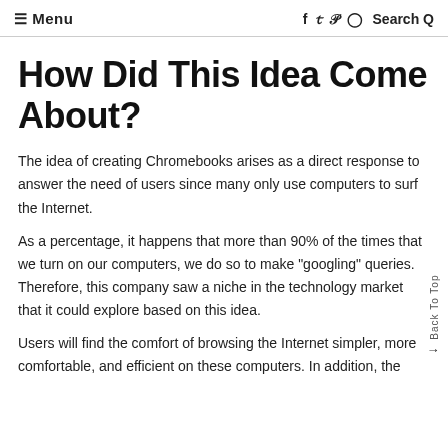≡ Menu   f  y  p  ◎  Search Q
How Did This Idea Come About?
The idea of creating Chromebooks arises as a direct response to answer the need of users since many only use computers to surf the Internet.
As a percentage, it happens that more than 90% of the times that we turn on our computers, we do so to make "googling" queries. Therefore, this company saw a niche in the technology market that it could explore based on this idea.
Users will find the comfort of browsing the Internet simpler, more comfortable, and efficient on these computers. In addition, the